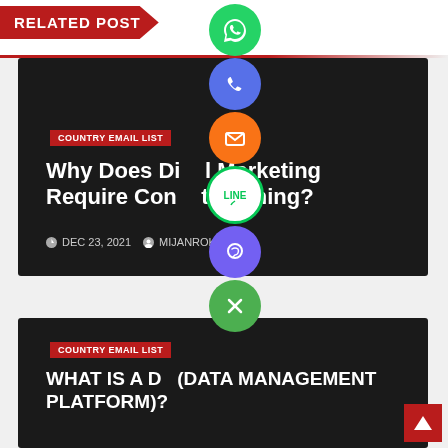RELATED POST
[Figure (screenshot): Article card: Why Does Digital Marketing Require Constant Training? - DEC 23, 2021 by MIJANROKUL, tagged COUNTRY EMAIL LIST]
[Figure (screenshot): Article card: WHAT IS A DMP (DATA MANAGEMENT PLATFORM)? tagged COUNTRY EMAIL LIST]
[Figure (infographic): Social sharing icons column: WhatsApp (green), Phone (blue), Email (orange), LINE (white/green), Viber (purple), Close/X (green)]